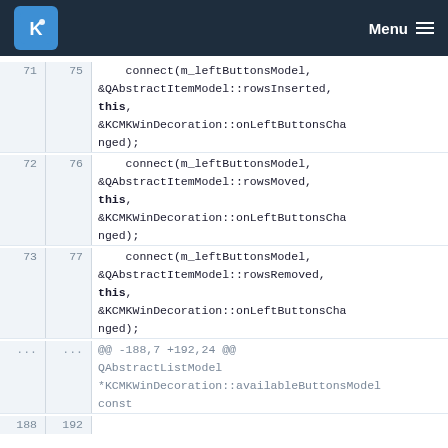KDE Menu
71  75      connect(m_leftButtonsModel, &QAbstractItemModel::rowsInserted, this, &KCMKWinDecoration::onLeftButtonsChanged);
72  76      connect(m_leftButtonsModel, &QAbstractItemModel::rowsMoved, this, &KCMKWinDecoration::onLeftButtonsChanged);
73  77      connect(m_leftButtonsModel, &QAbstractItemModel::rowsRemoved, this, &KCMKWinDecoration::onLeftButtonsChanged);
...  ...  @@ -188,7 +192,24 @@ QAbstractListModel *KCMKWinDecoration::availableButtonsModel const
188  192